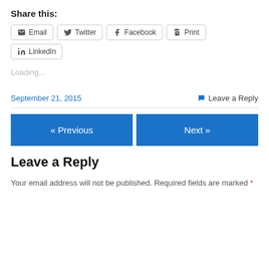Share this:
Email  Twitter  Facebook  Print  LinkedIn
Loading...
September 21, 2015
Leave a Reply
« Previous
Next »
Leave a Reply
Your email address will not be published. Required fields are marked *